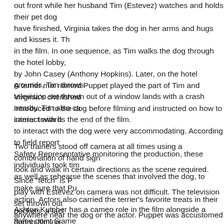out front while her husband Tim (Estevez) watches and holds their pet dog have finished, Virginia takes the dog in her arms and hugs and kisses it. Th in the film. In one sequence, as Tim walks the dog through the hotel lobby, by John Casey (Anthony Hopkins). Later, on the hotel grounds, Tim throws television set thrown out of a window lands with a crash nearby. Tim also ca carrier towards the end of the film.
A terrier mix named Puppet played the part of Tim and Virginia's cherished introduced to the dog before filming and instructed on how to interact with h to interact with the dog were very accommodating. According to field report Safety Representative monitoring the production, these individuals took tim as well as rehearse the scenes that involved the dog, to make sure that Pu action. Actors also carried the terrier's favorite treats in their pockets, a fact during filming.
Two trainers stood off camera at all times using a combination of hand sign look and walk in certain directions as the scene required. Since "fetch" is P play with Estevez on camera was not difficult. The television set thrown out anywhere near the dog or the actor. Puppet was accustomed to being trans front cover made of Plexiglas with holes for airflow.
Ashton Kutcher has a cameo role in the film alongside a flame point Siame in Edward's (Kutcher) apartment, watching as he and two other men are ab hallucinates. Danny stands in a litter box and Edward photographs the sc